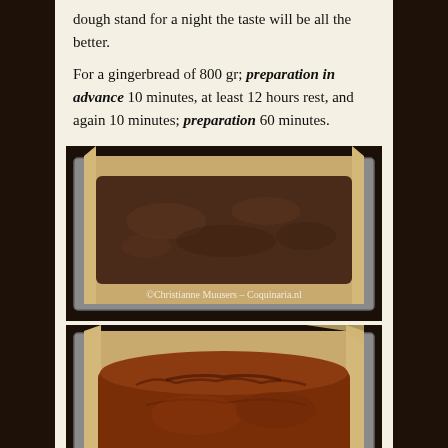dough stand for a night the taste will be all the better.
For a gingerbread of 800 gr; preparation in advance 10 minutes, at least 12 hours rest, and again 10 minutes; preparation 60 minutes.
[Figure (photo): Two loaf pans lined with parchment paper. Top pan shows unbaked dark gingerbread dough. Bottom pan shows fully baked gingerbread loaf, darker and risen. Both pans are on a dark surface. Watermark reads: ©Christianne Muusers – Coquinaria.nl]